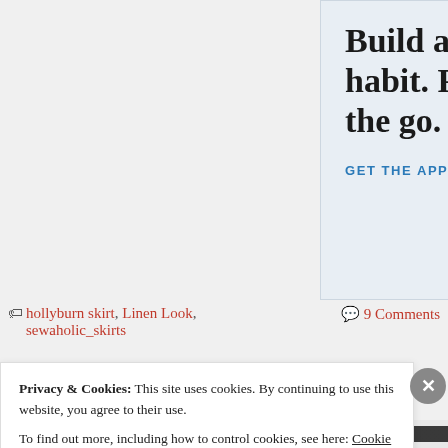[Figure (illustration): WordPress app advertisement banner with light blue background. Large bold serif text reads 'Build a writing habit. Post on the go.' Blue uppercase link text 'GET THE APP' and a WordPress logo icon (blue W on light blue rounded square background). Small 'REPORT THIS AD' text at bottom right.]
🏷 hollyburn skirt, Linen Look, sewaholic_skirts
💬 9 Comments
Privacy & Cookies: This site uses cookies. By continuing to use this website, you agree to their use.
To find out more, including how to control cookies, see here: Cookie Policy
Close and accept